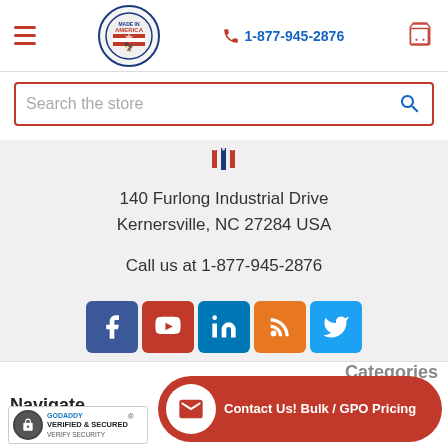Navigation header with hamburger menu, logo, phone 1-877-945-2876, and cart icon
Search the store
[Figure (logo): Made in USA logo with flag and eagle emblem, small version]
140 Furlong Industrial Drive
Kernersville, NC 27284 USA

Call us at 1-877-945-2876
[Figure (infographic): Social media icons: Facebook (blue), YouTube (red), LinkedIn (blue), RSS (orange), Twitter (light blue)]
Navigate
[Figure (logo): GoDaddy Verified & Secured badge with lock icon]
Categories
Contact Us! Bulk / GPO Pricing